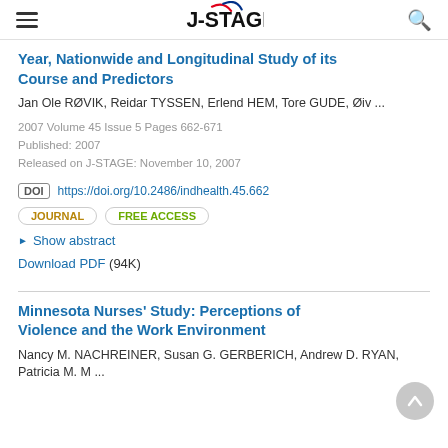J-STAGE
Year, Nationwide and Longitudinal Study of its Course and Predictors
Jan Ole RØVIK, Reidar TYSSEN, Erlend HEM, Tore GUDE, Øiv ...
2007 Volume 45 Issue 5 Pages 662-671
Published: 2007
Released on J-STAGE: November 10, 2007
DOI https://doi.org/10.2486/indhealth.45.662
JOURNAL   FREE ACCESS
Show abstract
Download PDF (94K)
Minnesota Nurses' Study: Perceptions of Violence and the Work Environment
Nancy M. NACHREINER, Susan G. GERBERICH, Andrew D. RYAN, Patricia M. M ...